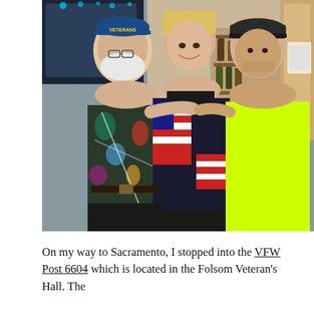[Figure (photo): Three people posing together indoors at what appears to be a bar or social hall. On the left is an elderly man wearing a blue Veterans cap and a colorful patterned shirt. In the center is a blonde woman wearing a black top with an American flag jacket. On the right is a younger man wearing a dark baseball cap and a neon yellow t-shirt. Bar shelves with bottles are visible in the background.]
On my way to Sacramento, I stopped into the VFW Post 6604 which is located in the Folsom Veteran's Hall. The